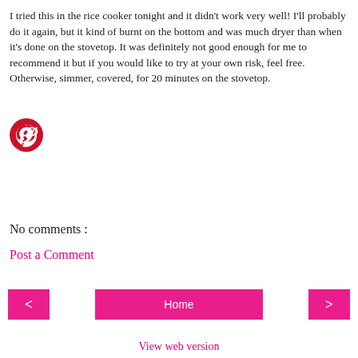I tried this in the rice cooker tonight and it didn't work very well! I'll probably do it again, but it kind of burnt on the bottom and was much dryer than when it's done on the stovetop. It was definitely not good enough for me to recommend it but if you would like to try at your own risk, feel free. Otherwise, simmer, covered, for 20 minutes on the stovetop.
[Figure (logo): Pinterest circular logo icon in red/crimson color]
No comments :
Post a Comment
< Home > View web version